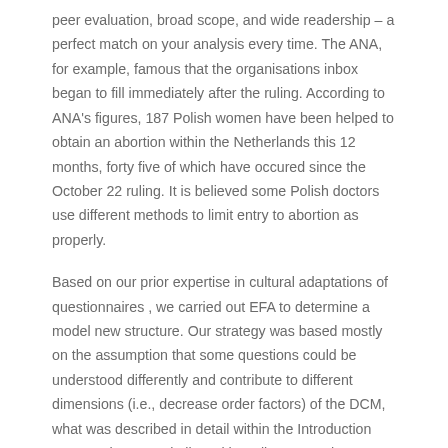peer evaluation, broad scope, and wide readership – a perfect match on your analysis every time. The ANA, for example, famous that the organisations inbox began to fill immediately after the ruling. According to ANA's figures, 187 Polish women have been helped to obtain an abortion within the Netherlands this 12 months, forty five of which have occured since the October 22 ruling. It is believed some Polish doctors use different methods to limit entry to abortion as properly.
Based on our prior expertise in cultural adaptations of questionnaires , we carried out EFA to determine a model new structure. Our strategy was based mostly on the assumption that some questions could be understood differently and contribute to different dimensions (i.e., decrease order factors) of the DCM, what was described in detail within the Introduction part. Furthermore, in line with earlier research , women that were less restrictive in partaking in uncommitted relationship (i.e., decrease SOI-R scores) had greater SE scores.